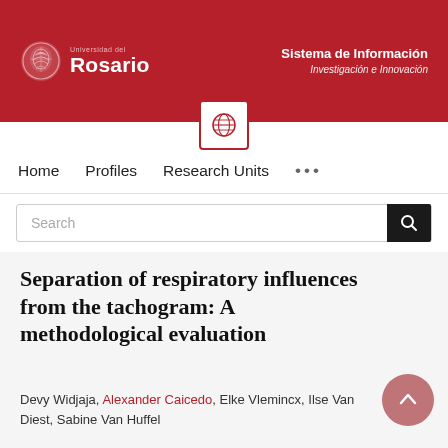[Figure (logo): Universidad del Rosario logo with globe/crest icon and text, on dark red banner. Right side shows 'Sistema de Información Investigación e Innovación' in white text.]
Home   Profiles   Research Units   ...
Search
Separation of respiratory influences from the tachogram: A methodological evaluation
Devy Widjaja, Alexander Caicedo, Elke Vlemincx, Ilse Van Diest, Sabine Van Huffel